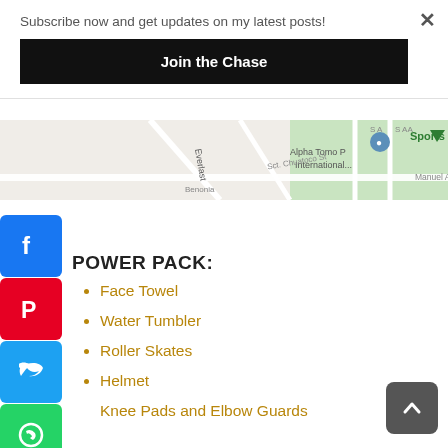Subscribe now and get updates on my latest posts!
Join the Chase
[Figure (map): Street map showing Alpha Tomo P International, Sports Complex area with streets Sct. Chuatoco St, Manuel A R, Everlast, Benonia and others]
[Figure (logo): Facebook share icon - blue square with white F]
[Figure (logo): Pinterest share icon - red square with white P]
[Figure (logo): Twitter share icon - blue square with white bird]
[Figure (logo): WhatsApp share icon - green square with white phone]
[Figure (logo): Messenger share icon - blue square with white lightning bolt chat]
POWER PACK:
Face Towel
Water Tumbler
Roller Skates
Helmet
Knee Pads and Elbow Guards